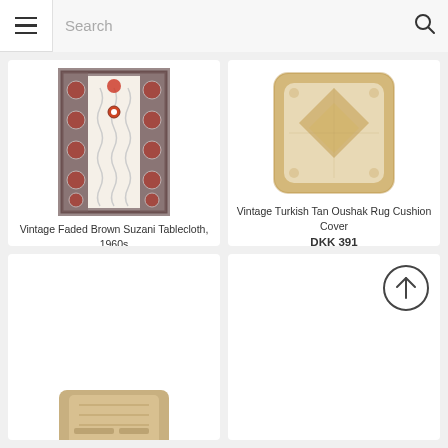Search
[Figure (photo): Vintage Faded Brown Suzani Tablecloth with red circular motifs and geometric patterns, 1960s]
Vintage Faded Brown Suzani Tablecloth, 1960s
DKK 1,523
[Figure (photo): Vintage Turkish Tan Oushak Rug Cushion Cover in beige and tan tones with geometric design]
Vintage Turkish Tan Oushak Rug Cushion Cover
DKK 391
[Figure (photo): Partially visible product image in bottom-left card]
[Figure (other): Back to top arrow button circle icon in bottom-right card]